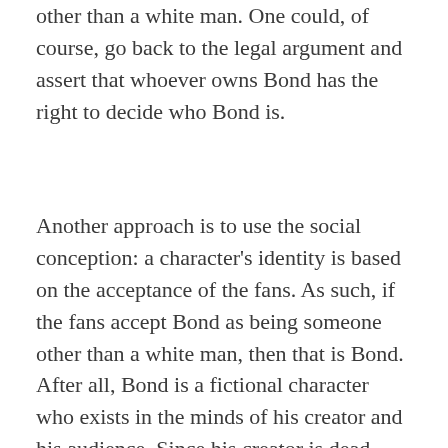other than a white man. One could, of course, go back to the legal argument and assert that whoever owns Bond has the right to decide who Bond is.
Another approach is to use the social conception: a character's identity is based on the acceptance of the fans. As such, if the fans accept Bond as being someone other than a white man, then that is Bond. After all, Bond is a fictional character who exists in the minds of his creator and his audience. Since his creator is dead, Bond now exists in the minds of the audience; so perhaps it is a case of majority acceptance—a sort of aesthetic